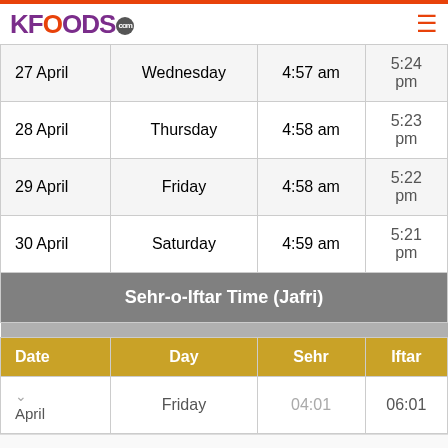KFOODS.com
| Date | Day | Sehr | Iftar |
| --- | --- | --- | --- |
| 27 April | Wednesday | 4:57 am | 5:24 pm |
| 28 April | Thursday | 4:58 am | 5:23 pm |
| 29 April | Friday | 4:58 am | 5:22 pm |
| 30 April | Saturday | 4:59 am | 5:21 pm |
Sehr-o-Iftar Time (Jafri)
| Date | Day | Sehr | Iftar |
| --- | --- | --- | --- |
| April | Friday | 04:01 | 06:01 |
[Figure (infographic): Advertisement banner: Visit Premium Outlets® Leesburg Premium Outlets]